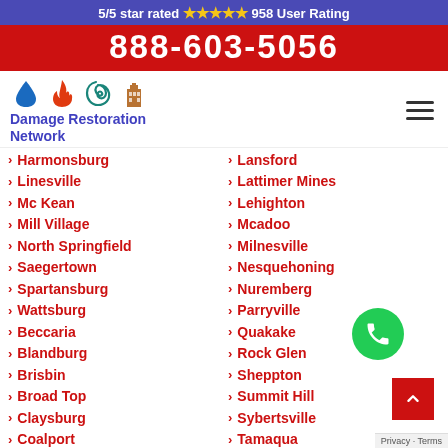5/5 star rated ★★★★★ 958 User Rating
888-603-5056
[Figure (logo): Damage Restoration Network logo with water drop, fire, hurricane, and building icons]
Harmonsburg
Lansford
Linesville
Lattimer Mines
Mc Kean
Lehighton
Mill Village
Mcadoo
North Springfield
Milnesville
Saegertown
Nesquehoning
Spartansburg
Nuremberg
Wattsburg
Parryville
Beccaria
Quakake
Blandburg
Rock Glen
Brisbin
Sheppton
Broad Top
Summit Hill
Claysburg
Sybertsville
Coalport
Tamaqua